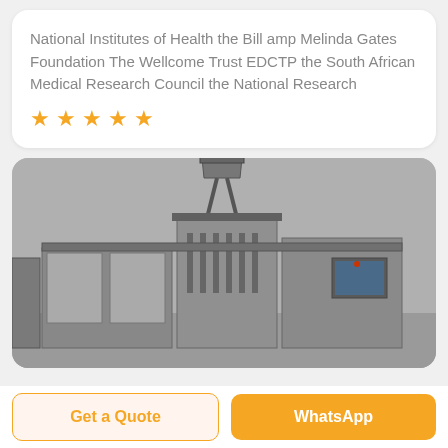National Institutes of Health the Bill amp Melinda Gates Foundation The Wellcome Trust EDCTP the South African Medical Research Council the National Research
[Figure (photo): Grayscale photograph of an industrial or laboratory machine — a large stainless steel automated filling or processing unit with tanks, frames, tubes, and a control panel, photographed indoors against a plain wall.]
Get a Quote
WhatsApp